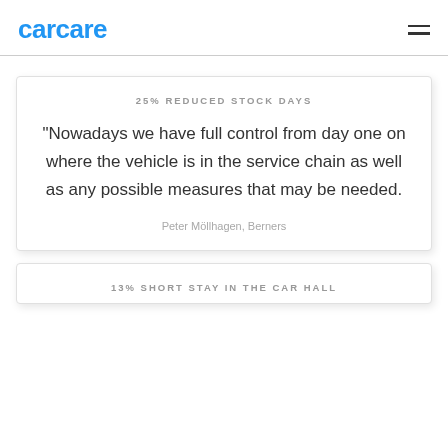carcare
25% REDUCED STOCK DAYS
"Nowadays we have full control from day one on where the vehicle is in the service chain as well as any possible measures that may be needed.
Peter Möllhagen, Berners
13% SHORT STAY IN THE CAR HALL